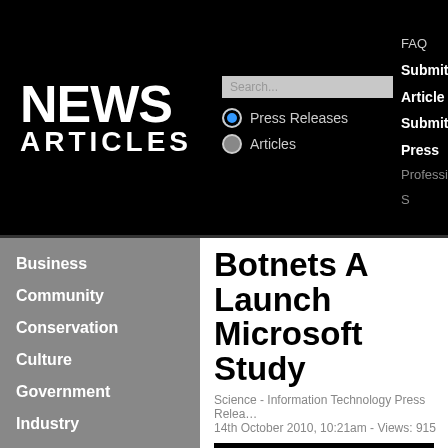NEWS ARTICLES
Search...
Press Releases
Articles
FAQ
Submit Article
Submit Press
Professional S
Business
Community
Conservation
Culture
Government
Industry
People
Science
Biotechnology
Information Technology
Research
Scientific
Botnets A Launch Microsoft Study
Science - Information Technology Press Release
14th October 2010, 10:21am - Views: 915
[Figure (photo): Black image/photo block associated with the article about Botnets]